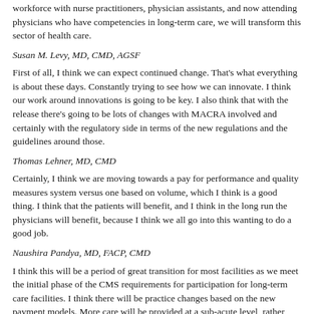workforce with nurse practitioners, physician assistants, and now attending physicians who have competencies in long-term care, we will transform this sector of health care.
Susan M. Levy, MD, CMD, AGSF
First of all, I think we can expect continued change. That's what everything is about these days. Constantly trying to see how we can innovate. I think our work around innovations is going to be key. I also think that with the release there's going to be lots of changes with MACRA involved and certainly with the regulatory side in terms of the new regulations and the guidelines around those.
Thomas Lehner, MD, CMD
Certainly, I think we are moving towards a pay for performance and quality measures system versus one based on volume, which I think is a good thing. I think that the patients will benefit, and I think in the long run the physicians will benefit, because I think we all go into this wanting to do a good job.
Naushira Pandya, MD, FACP, CMD
I think this will be a period of great transition for most facilities as we meet the initial phase of the CMS requirements for participation for long-term care facilities. I think there will be practice changes based on the new payment models. More care will be provided at a sub-acute level, rather than long-term care and I think there will be more partnerships and